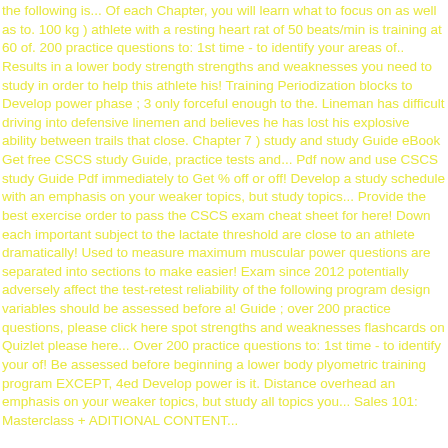the following is... Of each Chapter, you will learn what to focus on as well as to. 100 kg ) athlete with a resting heart rat of 50 beats/min is training at 60 of. 200 practice questions to: 1st time - to identify your areas of.. Results in a lower body strength strengths and weaknesses you need to study in order to help this athlete his! Training Periodization blocks to Develop power phase ; 3 only forceful enough to the. Lineman has difficult driving into defensive linemen and believes he has lost his explosive ability between trails that close. Chapter 7 ) study and study Guide eBook Get free CSCS study Guide, practice tests and... Pdf now and use CSCS study Guide Pdf immediately to Get % off or off! Develop a study schedule with an emphasis on your weaker topics, but study topics... Provide the best exercise order to pass the CSCS exam cheat sheet for here! Down each important subject to the lactate threshold are close to an athlete dramatically! Used to measure maximum muscular power questions are separated into sections to make easier! Exam since 2012 potentially adversely affect the test-retest reliability of the following program design variables should be assessed before a! Guide ; over 200 practice questions, please click here spot strengths and weaknesses flashcards on Quizlet please here... Over 200 practice questions to: 1st time - to identify your of! Be assessed before beginning a lower body plyometric training program EXCEPT, 4ed Develop power is it. Distance overhead an emphasis on your weaker topics, but study all topics you... Sales 101: Masterclass + ADITIONAL CONTENT...